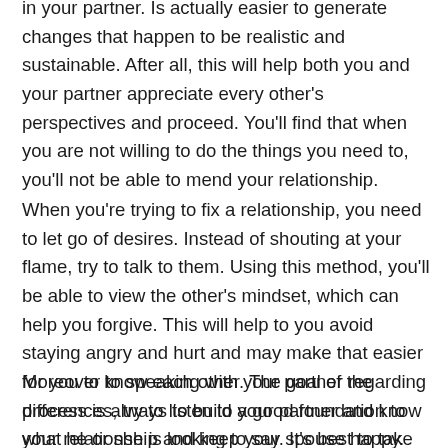in your partner. Is actually easier to generate changes that happen to be realistic and sustainable. After all, this will help both you and your partner appreciate every other's perspectives and proceed. You'll find that when you are not willing to do the things you need to, you'll not be able to mend your relationship.
When you're trying to fix a relationship, you need to let go of desires. Instead of shouting at your flame, try to talk to them. Using this method, you'll be able to view the other's mindset, which can help you forgive. This will help to you avoid staying angry and hurt and may make that easier for you to know each other. The goal of the process is always to build a good foundation to your relationship and keep your spouse happy.
Moreover to speaking with your partner regarding differences, try to listen to your partner and know what he or she is looking to say. It's best to take action that will help you